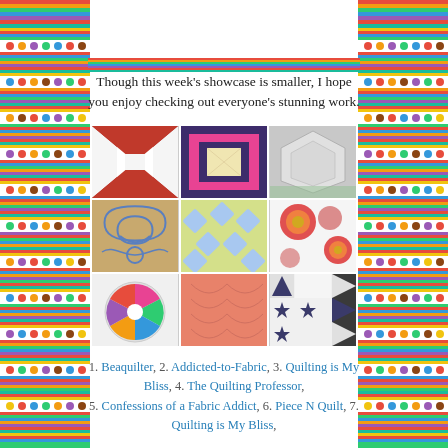[Figure (illustration): Decorative colorful striped borders on left and right sides of the page, with horizontal stripe band near top]
Though this week's showcase is smaller, I hope you enjoy checking out everyone's stunning work.
[Figure (photo): 3x3 grid of quilt photos showing various quilting patterns and designs]
1. Beaquilter, 2. Addicted-to-Fabric, 3. Quilting is My Bliss, 4. The Quilting Professor, 5. Confessions of a Fabric Addict, 6. Piece N Quilt, 7. Quilting is My Bliss,